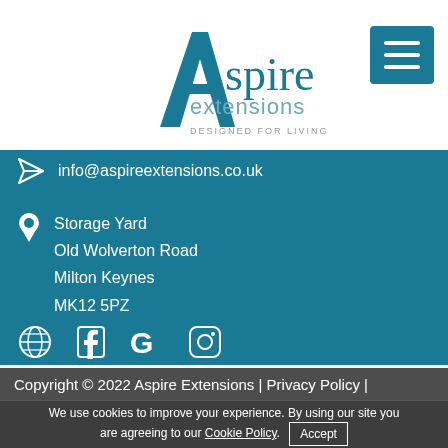[Figure (logo): Aspire Extensions logo — stylized letter A with house/grid motif, text 'Aspire extensions DESIGNED FOR LIVING' in teal and grey]
[Figure (other): Teal square hamburger menu button with three white horizontal lines]
info@aspireextensions.co.uk
Storage Yard
Old Wolverton Road
Milton Keynes
MK12 5PZ
[Figure (other): Social media icons row: globe/web, Facebook, Google, Instagram — all white on teal background]
Copyright © 2022 Aspire Extensions | Privacy Policy |
We use cookies to improve your experience. By using our site you are agreeing to our Cookie Policy.
Accept